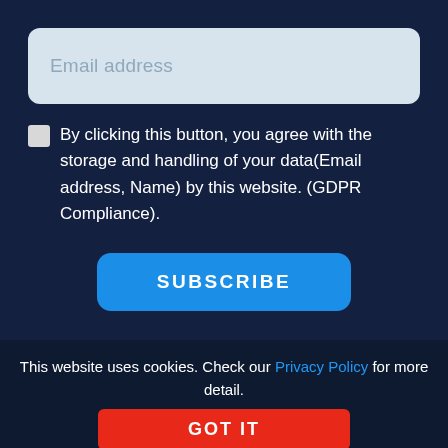Email address
By clicking this button, you agree with the storage and handling of your data(Email address, Name) by this website. (GDPR Compliance).
SUBSCRIBE
This website uses cookies. Check our Privacy Policy for more detail.
GOT IT